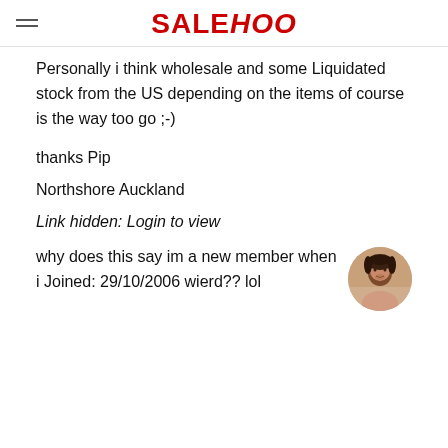SALEHOO
Personally i think wholesale and some Liquidated stock from the US depending on the items of course is the way too go ;-)
thanks Pip
Northshore Auckland
Link hidden: Login to view
why does this say im a new member when i Joined: 29/10/2006 wierd?? lol